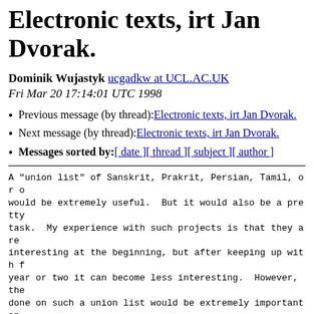Electronic texts, irt Jan Dvorak.
Dominik Wujastyk ucgadkw at UCL.AC.UK
Fri Mar 20 17:14:01 UTC 1998
Previous message (by thread): Electronic texts, irt Jan Dvorak.
Next message (by thread): Electronic texts, irt Jan Dvorak.
Messages sorted by: [ date ] [ thread ] [ subject ] [ author ]
A "union list" of Sanskrit, Prakrit, Persian, Tamil, or o would be extremely useful.  But it would also be a pretty task.  My experience with such projects is that they are interesting at the beginning, but after keeping up with f year or two it can become less interesting.  However, the done on such a union list would be extremely important an general interest.  I would be delighted to host such a li INDOLOGY web site.
Another possibility is for all e-texts to be systematical an institutionally-funded site such as the Oxford Text Ar Rutgers Center for Electronic Texts.  These places have p catalogue and manage e-texts.  That would be ideal.  All